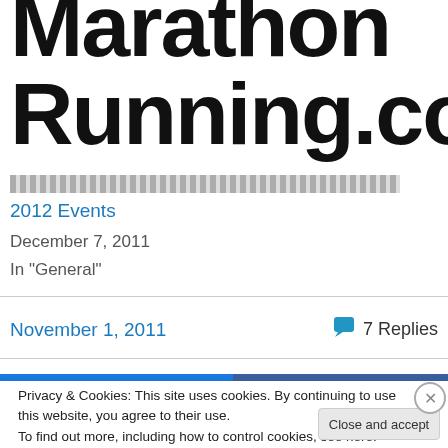Marathon Running.com
2012 Events
December 7, 2011
In "General"
November 1, 2011  7 Replies
Privacy & Cookies: This site uses cookies. By continuing to use this website, you agree to their use.
To find out more, including how to control cookies, see here: Cookie Policy
Close and accept